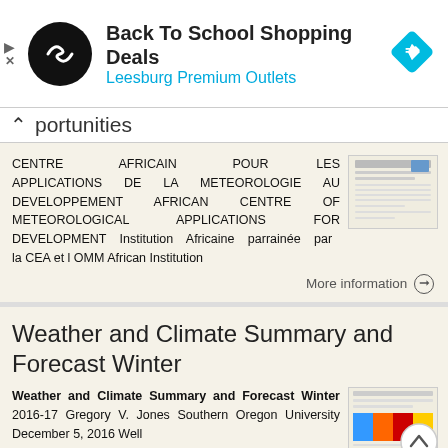[Figure (screenshot): Advertisement banner: Back To School Shopping Deals at Leesburg Premium Outlets with a circular logo and blue navigation diamond icon]
Opportunities
CENTRE AFRICAIN POUR LES APPLICATIONS DE LA METEOROLOGIE AU DEVELOPPEMENT AFRICAN CENTRE OF METEOROLOGICAL APPLICATIONS FOR DEVELOPMENT Institution Africaine parrainée par la CEA et l OMM African Institution
[Figure (screenshot): Thumbnail of a document page for ACMAD]
More information →
Weather and Climate Summary and Forecast Winter
Weather and Climate Summary and Forecast Winter 2016-17 Gregory V. Jones Southern Oregon University December 5, 2016 Well
[Figure (screenshot): Thumbnail of weather/climate document with color map image]